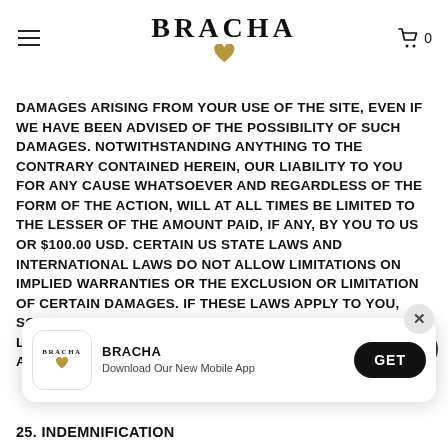BRACHA
DAMAGES ARISING FROM YOUR USE OF THE SITE, EVEN IF WE HAVE BEEN ADVISED OF THE POSSIBILITY OF SUCH DAMAGES. NOTWITHSTANDING ANYTHING TO THE CONTRARY CONTAINED HEREIN, OUR LIABILITY TO YOU FOR ANY CAUSE WHATSOEVER AND REGARDLESS OF THE FORM OF THE ACTION, WILL AT ALL TIMES BE LIMITED TO THE LESSER OF THE AMOUNT PAID, IF ANY, BY YOU TO US OR $100.00 USD. CERTAIN US STATE LAWS AND INTERNATIONAL LAWS DO NOT ALLOW LIMITATIONS ON IMPLIED WARRANTIES OR THE EXCLUSION OR LIMITATION OF CERTAIN DAMAGES. IF THESE LAWS APPLY TO YOU, SOME OR ALL OF THE ABOVE DISCLAIMERS OR LIMITATIONS MAY NOT APPLY TO YOU, AND YOU MAY HAVE ADDITIONAL RIGHTS.
[Figure (screenshot): App download banner for BRACHA mobile app with logo icon, title, description, and GET button]
25. INDEMNIFICATION